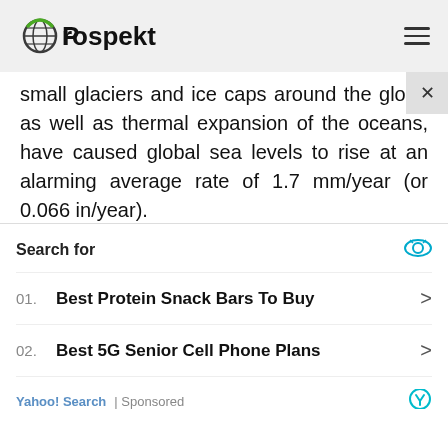Prospekt
small glaciers and ice caps around the globe as well as thermal expansion of the oceans, have caused global sea levels to rise at an alarming average rate of 1.7 mm/year (or 0.066 in/year).

Up to this date, many live in denial, or pretend not to know about the scientific evidence of the reality and consequences of Climate Change. Meanwhile, sea-level rise is likely to continue at an even faster rate during the current 21st century.
Search for
01. Best Protein Snack Bars To Buy
02. Best 5G Senior Cell Phone Plans
Yahoo! Search | Sponsored